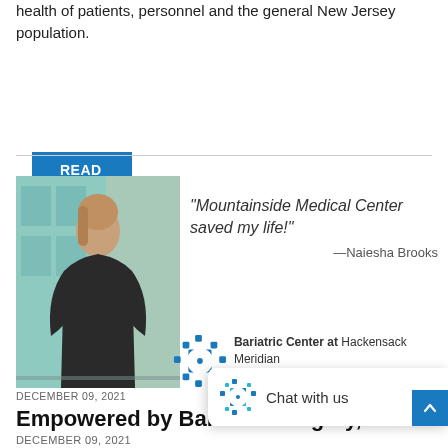health of patients, personnel and the general New Jersey population.
READ MORE
[Figure (photo): Woman in dark dress standing in front of glass railing with teal background, labeled News]
“Mountainside Medical Center saved my life!”
—Naiesha Brooks
[Figure (logo): Hackensack Meridian Health logo (diamond dot pattern icon)]
Bariatric Center at Hackensack Meridian Mountainside Medical Center
DECEMBER 09, 2021
Empowered by Bariatric Surgery, Pa t